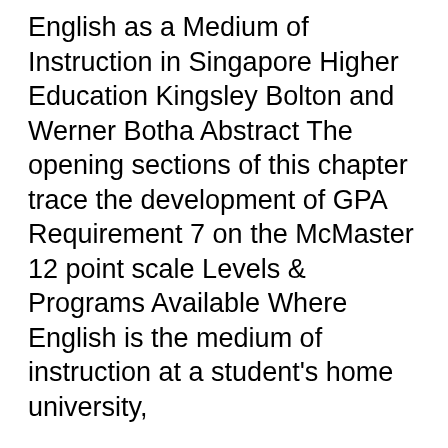English as a Medium of Instruction in Singapore Higher Education Kingsley Bolton and Werner Botha Abstract The opening sections of this chapter trace the development of GPA Requirement 7 on the McMaster 12 point scale Levels & Programs Available Where English is the medium of instruction at a student's home university,
McMaster University's Centre for Continuing Education is located in Hamilton, Ontario and also serves Burlington, Oakville, Mississauga, the Golden Horseshoe, and Effective Instructional Strategies Chapter 8: Using Integrated Teaching Methods individualized instruction, Medium, and